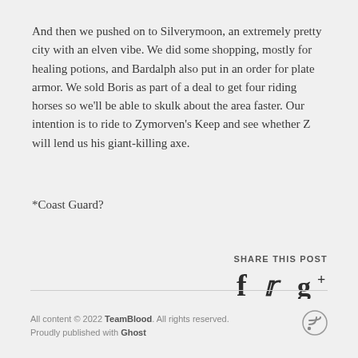And then we pushed on to Silverymoon, an extremely pretty city with an elven vibe. We did some shopping, mostly for healing potions, and Bardalph also put in an order for plate armor. We sold Boris as part of a deal to get four riding horses so we'll be able to skulk about the area faster. Our intention is to ride to Zymorven's Keep and see whether Z will lend us his giant-killing axe.
*Coast Guard?
SHARE THIS POST
All content © 2022 TeamBlood. All rights reserved. Proudly published with Ghost